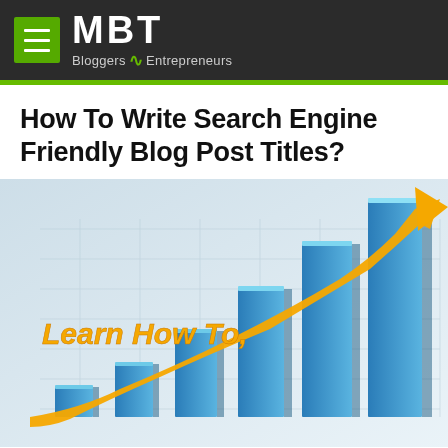MBT — Bloggers Entrepreneurs
How To Write Search Engine Friendly Blog Post Titles?
[Figure (illustration): 3D bar chart with rising blue bars and an orange upward arrow, with text 'Learn How To,' overlaid in orange italic font. The chart shows increasing growth trend on a light grid background.]